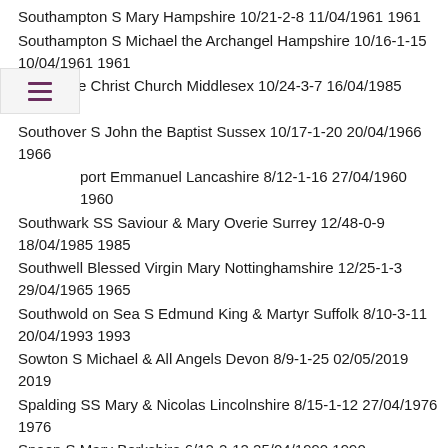Southampton S Mary Hampshire 10/21-2-8 11/04/1961 1961
Southampton S Michael the Archangel Hampshire 10/16-1-15 10/04/1961 1961
Southgate Christ Church Middlesex 10/24-3-7 16/04/1985 1985
Southover S John the Baptist Sussex 10/17-1-20 20/04/1966 1966
port Emmanuel Lancashire 8/12-1-16 27/04/1960 1960
Southwark SS Saviour & Mary Overie Surrey 12/48-0-9 18/04/1985 1985
Southwell Blessed Virgin Mary Nottinghamshire 12/25-1-3 29/04/1965 1965
Southwold on Sea S Edmund King & Martyr Suffolk 8/10-3-11 20/04/1993 1993
Sowton S Michael & All Angels Devon 8/9-1-25 02/05/2019 2019
Spalding SS Mary & Nicolas Lincolnshire 8/15-1-12 27/04/1976 1976
Speen S Mary Berkshire 6/12-2-12 25/04/1990 1990
Spitalfields Christ Church Middlesex 8/17-1-10 18/04/1985 1985
Sprotbrough S Mary the Virgin Yorkshire 8/8-1-26 01/05/2003 2003
Sproxton S Bartholomew Leicestershire 8/8-2-15 18/10/1996 1996